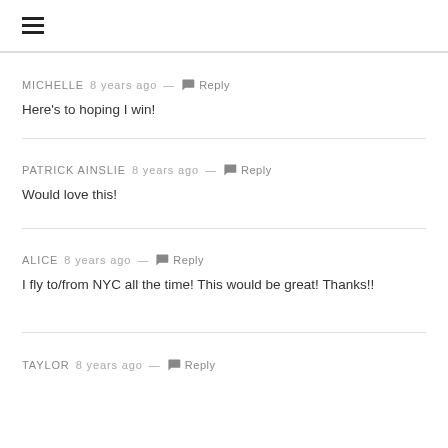≡
MICHELLE 8 years ago — Reply
Here's to hoping I win!
PATRICK AINSLIE 8 years ago — Reply
Would love this!
ALICE 8 years ago — Reply
I fly to/from NYC all the time! This would be great! Thanks!!
TAYLOR 8 years ago — Reply